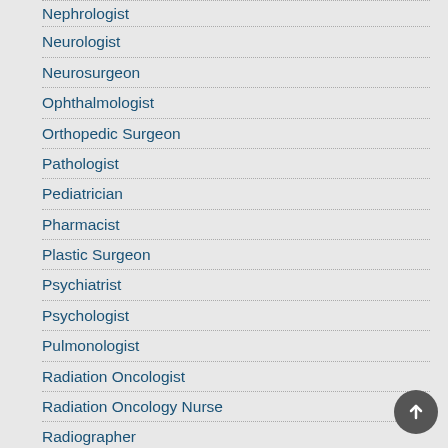Nephrologist
Neurologist
Neurosurgeon
Ophthalmologist
Orthopedic Surgeon
Pathologist
Pediatrician
Pharmacist
Plastic Surgeon
Psychiatrist
Psychologist
Pulmonologist
Radiation Oncologist
Radiation Oncology Nurse
Radiographer
Rheumatologist
Surgeon
Urologist
Veterinarian